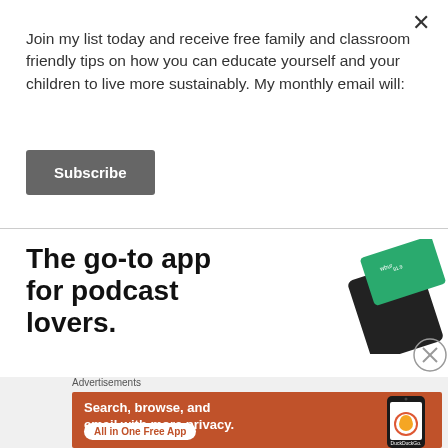Join my list today and receive free family and classroom friendly tips on how you can educate yourself and your children to live more sustainably. My monthly email will:
Subscribe
[Figure (infographic): Podcast app advertisement showing bold headline text 'The go-to app for podcast lovers.' with a stylized green card visual on the right side]
Advertisements
[Figure (infographic): DuckDuckGo advertisement banner with orange background. Text reads 'Search, browse, and email with more privacy. All in One Free App' with DuckDuckGo logo and phone image on right.]